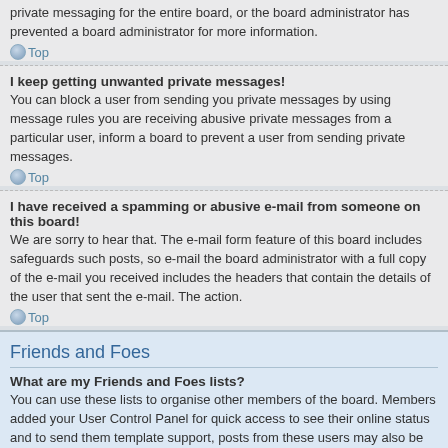private messaging for the entire board, or the board administrator has prevented a board administrator for more information.
Top
I keep getting unwanted private messages!
You can block a user from sending you private messages by using message rules you are receiving abusive private messages from a particular user, inform a board to prevent a user from sending private messages.
Top
I have received a spamming or abusive e-mail from someone on this board!
We are sorry to hear that. The e-mail form feature of this board includes safeguards such posts, so e-mail the board administrator with a full copy of the e-mail you received includes the headers that contain the details of the user that sent the e-mail. The action.
Top
Friends and Foes
What are my Friends and Foes lists?
You can use these lists to organise other members of the board. Members added your User Control Panel for quick access to see their online status and to send them template support, posts from these users may also be highlighted. If you add a user make will be hidden by default.
Top